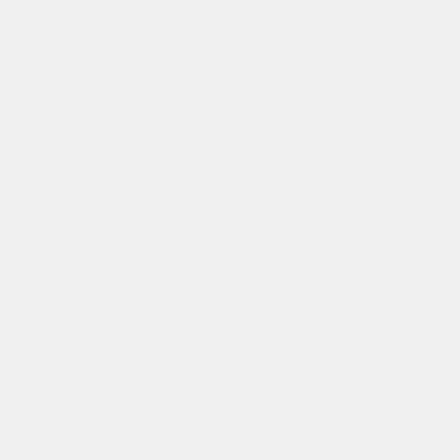available actions for an attachment picker button?
When a user presses the attachment picker button, you can configure it to do